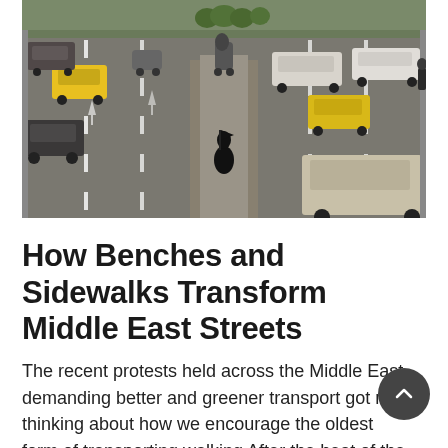[Figure (photo): Aerial/elevated view of a busy multi-lane road in the Middle East with cars and motorbikes in traffic; a person dressed in black stands on the central median.]
How Benches and Sidewalks Transform Middle East Streets
The recent protests held across the Middle East demanding better and greener transport got me thinking about how we encourage the oldest form of transport: walking After the heat of the day fades, the streets of the Middle East...